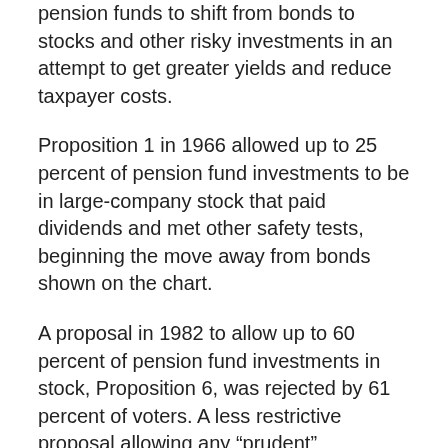pension funds to shift from bonds to stocks and other risky investments in an attempt to get greater yields and reduce taxpayer costs.
Proposition 1 in 1966 allowed up to 25 percent of pension fund investments to be in large-company stock that paid dividends and met other safety tests, beginning the move away from bonds shown on the chart.
A proposal in 1982 to allow up to 60 percent of pension fund investments in stock, Proposition 6, was rejected by 61 percent of voters. A less restrictive proposal allowing any “prudent” investment, Proposition 21, was approved by 53 percent of voters in 1984.
The shift from bonds allowed optimistic projections of investment earnings to justify generous pension increases critics say are “unsustainable,” pushed massive debt to